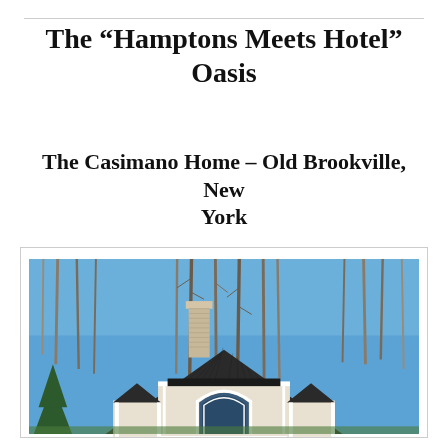The “Hamptons Meets Hotel” Oasis
The Casimano Home – Old Brookville, New York
[Figure (photo): Exterior photograph of a large luxury home with dark shingled roof, white decorative trim, arched window details, and a chimney, surrounded by tall bare trees against a clear blue sky.]